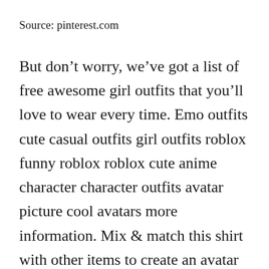Source: pinterest.com
But don't worry, we've got a list of free awesome girl outfits that you'll love to wear every time. Emo outfits cute casual outfits girl outfits roblox funny roblox roblox cute anime character character outfits avatar picture cool avatars more information. Mix & match this shirt with other items to create an avatar that is unique to you! Despite being free, these outfits really look good enough to impress your friends. Outfit